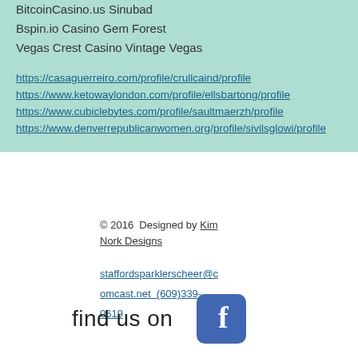BitcoinCasino.us Sinubad
Bspin.io Casino Gem Forest
Vegas Crest Casino Vintage Vegas
https://casaguerreiro.com/profile/crullcaind/profile
https://www.ketowaylondon.com/profile/ellsbartong/profile
https://www.cubiclebytes.com/profile/saultmaerzh/profile
https://www.denverrepublicanwomen.org/profile/sivilsglowi/profile
© 2016  Designed by Kim Nork Designs
staffordsparklerscheer@comcast.net  (609)339-0619
find us on